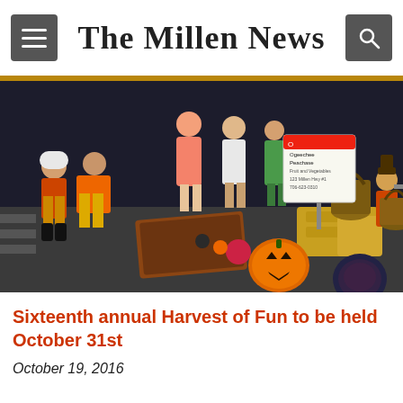The Millen News
[Figure (photo): Children in Halloween costumes playing cornhole game outdoors at night, with hay bales, baskets, and decorated pumpkins in the background, and a sign reading 'Ogeechee Peachase' visible]
Sixteenth annual Harvest of Fun to be held October 31st
October 19, 2016